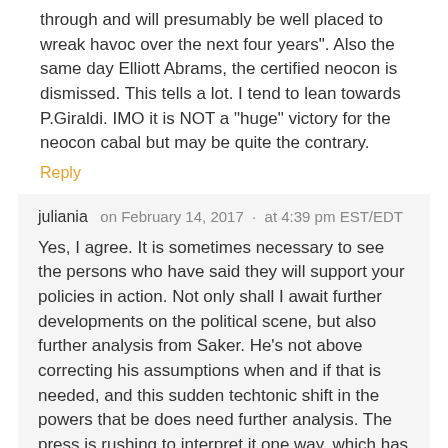through and will presumably be well placed to wreak havoc over the next four years". Also the same day Elliott Abrams, the certified neocon is dismissed. This tells a lot. I tend to lean towards P.Giraldi. IMO it is NOT a “huge” victory for the neocon cabal but may be quite the contrary.
Reply
juliania   on February 14, 2017  ·  at 4:39 pm EST/EDT
Yes, I agree. It is sometimes necessary to see the persons who have said they will support your policies in action. Not only shall I await further developments on the political scene, but also further analysis from Saker. He’s not above correcting his assumptions when and if that is needed, and this sudden techtonic shift in the powers that be does need further analysis. The press is rushing to interpret it one way, which has me very leery of theirs. Not for the first time.
Reply
Carmel by the Sea   on February 14, 2017  ·  at 5:34 pm EST/EDT
Alan